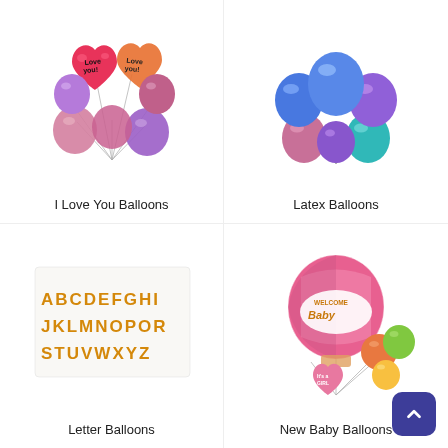[Figure (photo): Bouquet of 'I Love You' heart-shaped foil balloons and chrome round balloons in pink, purple and magenta colors]
I Love You Balloons
[Figure (photo): Bouquet of chrome latex balloons in blue, purple, teal and pink metallic colors]
Latex Balloons
[Figure (photo): Gold foil letter balloons showing the alphabet A through Z in three rows]
Letter Balloons
[Figure (photo): New baby balloon bouquet featuring a large hot air balloon with 'Welcome Baby' text, baby girl foil balloons, and a circular balloon]
New Baby Balloons